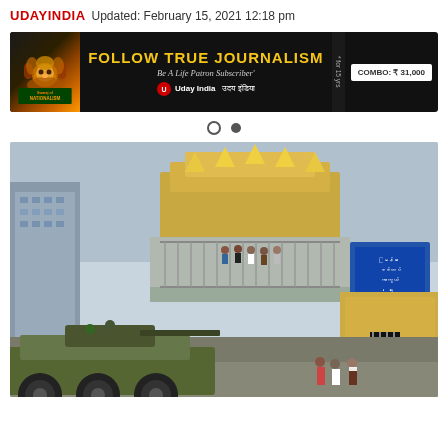UDAYINDIA  Updated: February 15, 2021 12:18 pm
[Figure (photo): Advertisement banner for Uday India magazine with lion logo, text 'FOLLOW TRUE JOURNALISM', 'Be A Life Patron Subscriber', 'Uday India उदय इंडिया', and 'COMBO: ₹ 31,000']
[Figure (photo): Photograph of a military armored vehicle (tank/APC) on a street in Myanmar (Burma), with people watching from a balcony of a building with golden decorations, and a blue sign with Burmese text. Buildings and a temple are visible in the background.]